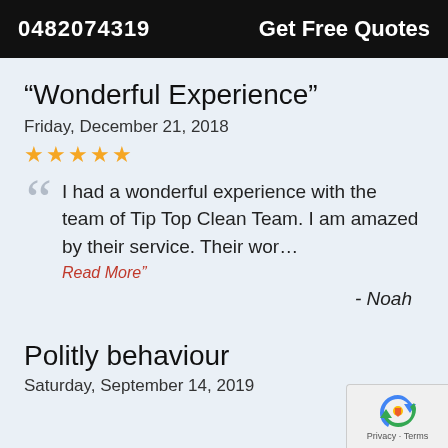0482074319   Get Free Quotes
“Wonderful Experience”
Friday, December 21, 2018
★★★★★
I had a wonderful experience with the team of Tip Top Clean Team. I am amazed by their service. Their wor… Read More”
- Noah
Politly behaviour
Saturday, September 14, 2019